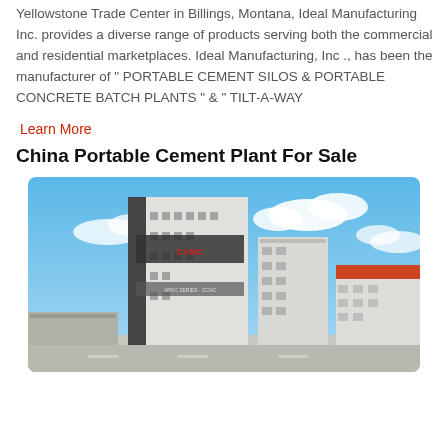Yellowstone Trade Center in Billings, Montana, Ideal Manufacturing Inc. provides a diverse range of products serving both the commercial and residential marketplaces. Ideal Manufacturing, Inc ., has been the manufacturer of “ PORTABLE CEMENT SILOS & PORTABLE CONCRETE BATCH PLANTS ” & “ TILT-A-WAY
Learn More
China Portable Cement Plant For Sale
[Figure (photo): Photo of a large industrial cement plant building with white and grey facade under a blue sky with clouds. A smaller building with an orange-red roof is visible to the right.]